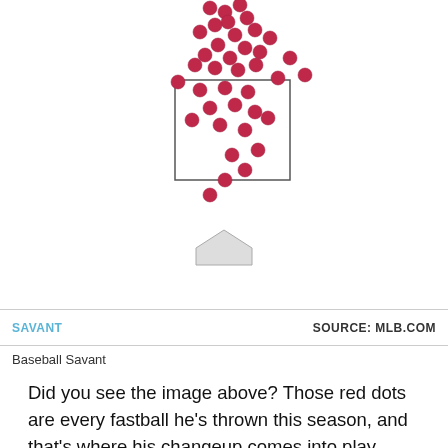[Figure (continuous-plot): Baseball Savant scatter plot showing pitch locations. Red dots represent every fastball thrown this season, clustered around and above the strike zone (shown as a rectangle outline), with a home plate shape below. Source: MLB.com]
Baseball Savant
Did you see the image above? Those red dots are every fastball he's thrown this season, and that's where his changeup comes into play. That pitch remains invisible for hitters —last year, it generated a 46.2 whiff% and this time, after his first two appearances, it's 33.3%— and there's a reason why.